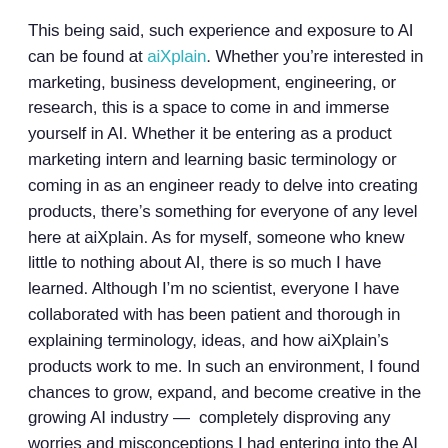This being said, such experience and exposure to AI can be found at aiXplain. Whether you're interested in marketing, business development, engineering, or research, this is a space to come in and immerse yourself in AI. Whether it be entering as a product marketing intern and learning basic terminology or coming in as an engineer ready to delve into creating products, there's something for everyone of any level here at aiXplain. As for myself, someone who knew little to nothing about AI, there is so much I have learned. Although I'm no scientist, everyone I have collaborated with has been patient and thorough in explaining terminology, ideas, and how aiXplain's products work to me. In such an environment, I found chances to grow, expand, and become creative in the growing AI industry — completely disproving any worries and misconceptions I had entering into the AI field with no prior knowledge.